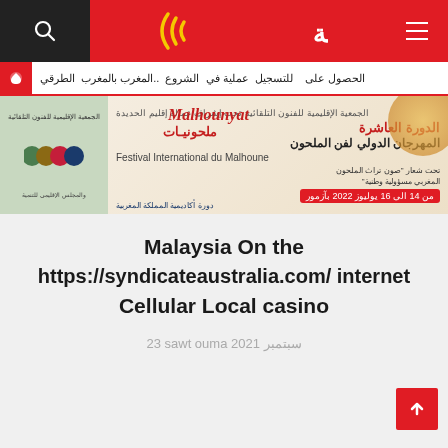صوت الامة - navigation header with search and menu icons
الشروع في عملية التسجيل للحصول على ... الطرقي بالمغرب..
[Figure (photo): Banner for المهرجان الدولي لفن الملحون - Festival International du Malhoune, Malhounyat, 10th edition, 14-16 October 2022 Beni Mellal]
Malaysia On the https://syndicateaustralia.com/ internet Cellular Local casino
23 sawt ouma سبتمبر 2021